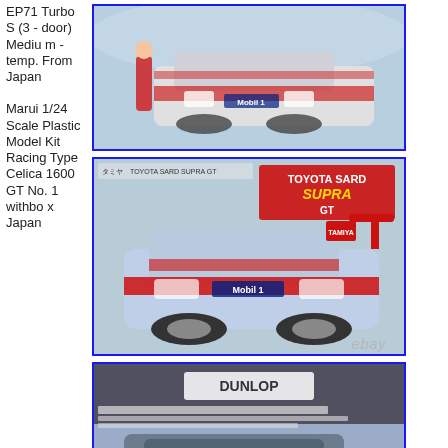EP71 Turbo S (3 - door) Medium - temp. From Japan
Marui 1/24 Scale Plastic Model Kit Racing Type Celica 1600 GT No. 1 withbox Japan
[Figure (photo): Racing car front view with person standing beside it, framed with blue border]
[Figure (photo): Toyota SARD Supra GT model kit box art showing race car with Mobil 1 livery, framed with blue border]
[Figure (photo): Close-up of Toyota Team SARD race car showing Dunlop livery and cockpit area, with ebay watermark, framed with blue border]